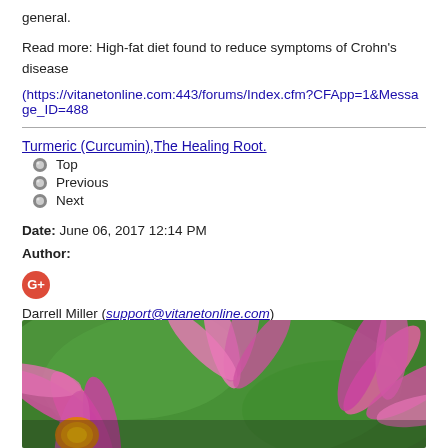general.
Read more: High-fat diet found to reduce symptoms of Crohn's disease
(https://vitanetonline.com:443/forums/Index.cfm?CFApp=1&Message_ID=488
Turmeric (Curcumin),The Healing Root.
Top
Previous
Next
Date: June 06, 2017 12:14 PM
Author:
Darrell Miller (support@vitanetonline.com)
Subject: Turmeric (Curcumin),The Healing Root.
[Figure (photo): Close-up photo of pink echinacea/daisy flowers with orange center against green blurred background]